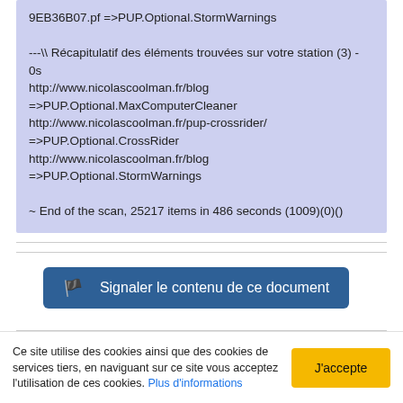9EB36B07.pf =>PUP.Optional.StormWarnings

---\\ Récapitulatif des éléments trouvées sur votre station (3) - 0s
http://www.nicolascoolman.fr/blog =>PUP.Optional.MaxComputerCleaner
http://www.nicolascoolman.fr/pup-crossrider/ =>PUP.Optional.CrossRider
http://www.nicolascoolman.fr/blog =>PUP.Optional.StormWarnings

~ End of the scan, 25217 items in 486 seconds (1009)(0)()
Signaler le contenu de ce document
Ce site utilise des cookies ainsi que des cookies de services tiers, en naviguant sur ce site vous acceptez l'utilisation de ces cookies. Plus d'informations